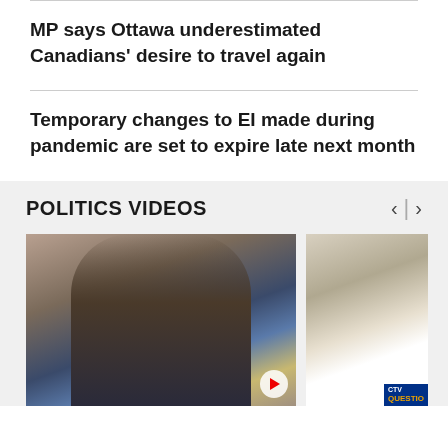MP says Ottawa underestimated Canadians' desire to travel again
Temporary changes to EI made during pandemic are set to expire late next month
POLITICS VIDEOS
[Figure (photo): Video thumbnail showing an older man in a suit and glasses, with an American flag in the background. A play button is visible.]
[Figure (photo): Video thumbnail showing a woman in a white blazer at a desk with a CTV Question Period logo overlay in the corner.]